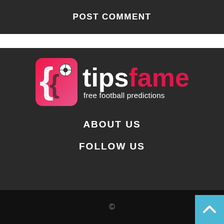POST COMMENT
[Figure (logo): Tipsfame logo — stylized icon on the left and brand name 'tipsfame' with tagline 'free football predictions' on the right, on dark background]
ABOUT US
FOLLOW US
©